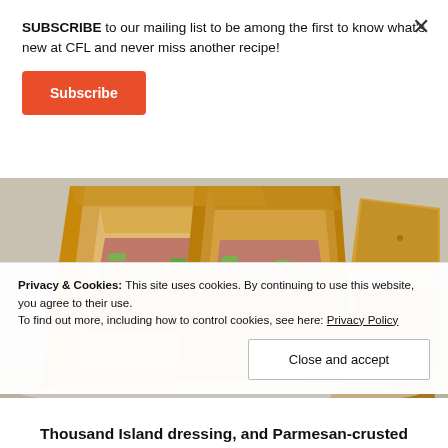SUBSCRIBE to our mailing list to be among the first to know what's new at CFL and never miss another recipe!
Subscribe
[Figure (photo): Photo of a grilled sandwich (Parmesan-crusted, with Thousand Island dressing visible) cut in half showing the filling, served with potato wedges on a white plate.]
Privacy & Cookies: This site uses cookies. By continuing to use this website, you agree to their use.
To find out more, including how to control cookies, see here: Privacy Policy
Close and accept
Thousand Island dressing, and Parmesan-crusted